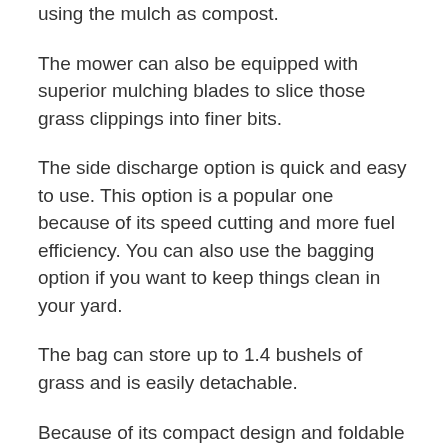using the mulch as compost.
The mower can also be equipped with superior mulching blades to slice those grass clippings into finer bits.
The side discharge option is quick and easy to use. This option is a popular one because of its speed cutting and more fuel efficiency. You can also use the bagging option if you want to keep things clean in your yard.
The bag can store up to 1.4 bushels of grass and is easily detachable.
Because of its compact design and foldable handles, you can store the mower vertically to save valuable floor space. The mower is black and orange in color and weighs 53.6 pounds.